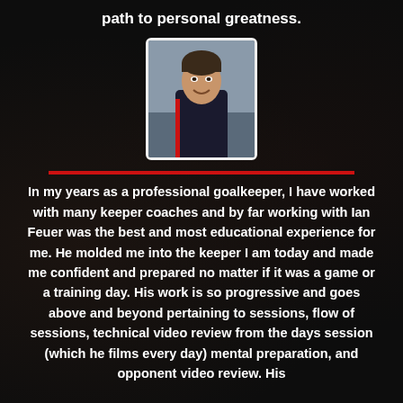path to personal greatness.
[Figure (photo): Headshot photo of a man in a dark sports jacket, smiling, with medium-length dark hair, outdoors background]
In my years as a professional goalkeeper, I have worked with many keeper coaches and by far working with Ian Feuer was the best and most educational experience for me. He molded me into the keeper I am today and made me confident and prepared no matter if it was a game or a training day. His work is so progressive and goes above and beyond pertaining to sessions, flow of sessions, technical video review from the days session (which he films every day) mental preparation, and opponent video review. His